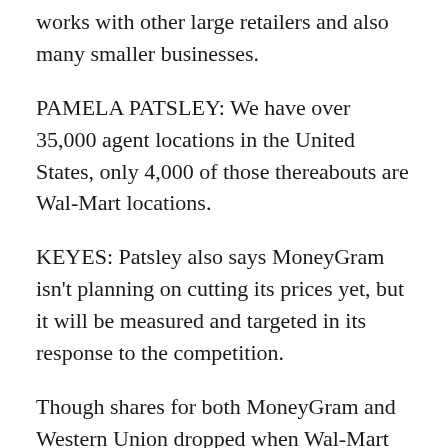works with other large retailers and also many smaller businesses.
PAMELA PATSLEY: We have over 35,000 agent locations in the United States, only 4,000 of those thereabouts are Wal-Mart locations.
KEYES: Patsley also says MoneyGram isn't planning on cutting its prices yet, but it will be measured and targeted in its response to the competition.
Though shares for both MoneyGram and Western Union dropped when Wal-Mart announced its new service, analysts such as Ben Jackson think it won't be the end of the other businesses.
BEN JACKSON: Because of their involvement...